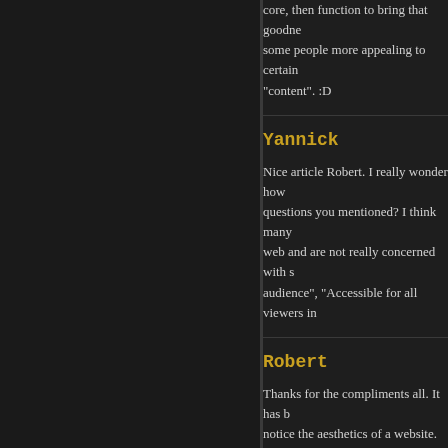core, then function to bring that goodness out. Makes some people more appealing to certain "content". :D
Yannick
Nice article Robert. I really wonder how many of the questions you mentioned? I think many people build for the web and are not really concerned with such things as "target audience", "Accessible for all viewers in
Robert
Thanks for the compliments all. It has been nice to notice the aesthetics of a website. Michael Boyink promotes web standards for Church websites and for the wider community as well.

So, Michael Boyink, thank you!
Andy Knight
Having built a few websites for churche